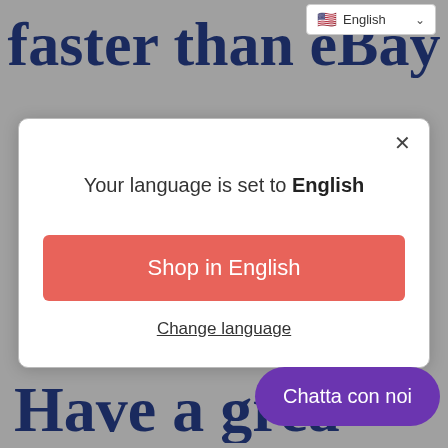faster than eBay
[Figure (screenshot): Language selector dropdown showing English with flag icon]
Your language is set to English
Shop in English
Change language
Have a grea
Chatta con noi